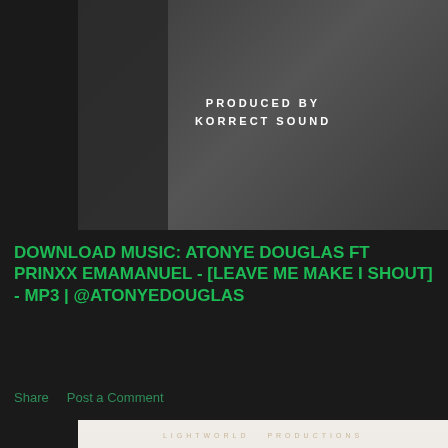[Figure (photo): Dark/grey background music artwork with text 'PRODUCED BY KORRECT SOUND' in white letters centered]
DOWNLOAD MUSIC: ATONYE DOUGLAS FT PRINXX EMAMANUEL - [LEAVE ME MAKE I SHOUT] - MP3 | @ATONYEDOUGLAS
Share   Post a Comment
[Figure (photo): Music album artwork showing two people - PRINCESS PETERS (woman with long black hair) and GODWIN IDIOS (man with beard), with ornate floral/mandala white pattern background and 'LIGHTWORLD PRODUCTIONS' text at top]